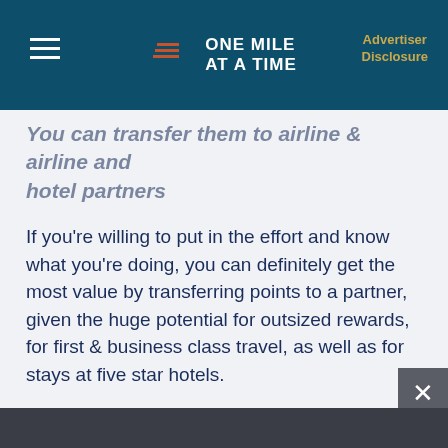ONE MILE AT A TIME | Advertiser Disclosure
You can transfer them to airline & airline and hotel partners
If you're willing to put in the effort and know what you're doing, you can definitely get the most value by transferring points to a partner, given the huge potential for outsized rewards, for first & business class travel, as well as for stays at five star hotels.
For others, being able to cash in points for up to 1.5 cents each towards a travel purchase could be a great value as well.
Advertisement | OMAAT continues below